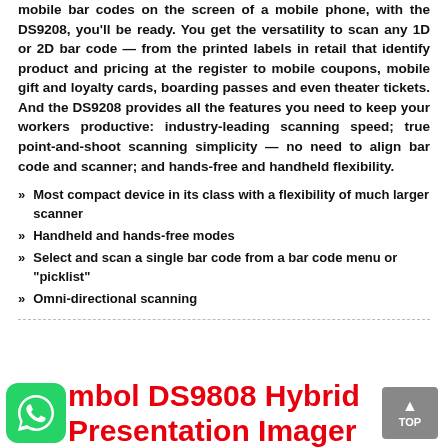mobile bar codes on the screen of a mobile phone, with the DS9208, you'll be ready. You get the versatility to scan any 1D or 2D bar code — from the printed labels in retail that identify product and pricing at the register to mobile coupons, mobile gift and loyalty cards, boarding passes and even theater tickets. And the DS9208 provides all the features you need to keep your workers productive: industry-leading scanning speed; true point-and-shoot scanning simplicity — no need to align bar code and scanner; and hands-free and handheld flexibility.
Most compact device in its class with a flexibility of much larger scanner
Handheld and hands-free modes
Select and scan a single bar code from a bar code menu or "picklist"
Omni-directional scanning
Symbol DS9808 Hybrid Presentation Imager